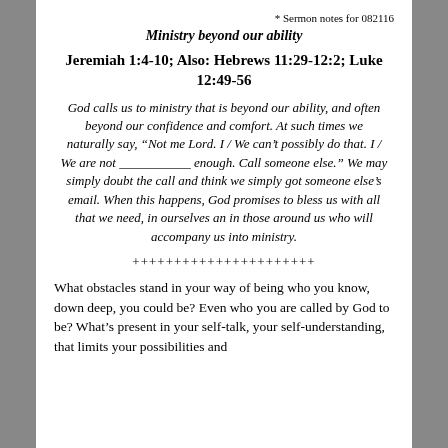* Sermon notes for 082116
Ministry beyond our ability
Jeremiah 1:4-10;  Also: Hebrews 11:29-12:2; Luke 12:49-56
God calls us to ministry that is beyond our ability, and often beyond our confidence and comfort. At such times we naturally say, “Not me Lord. I / We can’t possibly do that. I / We are not ___________ enough. Call someone else.” We may simply doubt the call and think we simply got someone else’s email. When this happens, God promises to bless us with all that we need, in ourselves an in those around us who will accompany us into ministry.
++++++++++++++++++++++
What obstacles stand in your way of being who you know, down deep, you could be? Even who you are called by God to be? What’s present in your self-talk, your self-understanding, that limits your possibilities and